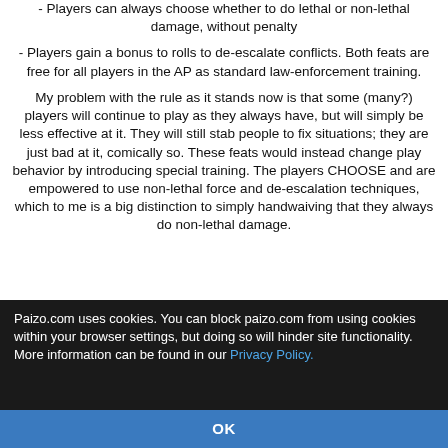- Players can always choose whether to do lethal or non-lethal damage, without penalty
- Players gain a bonus to rolls to de-escalate conflicts. Both feats are free for all players in the AP as standard law-enforcement training.
My problem with the rule as it stands now is that some (many?) players will continue to play as they always have, but will simply be less effective at it. They will still stab people to fix situations; they are just bad at it, comically so. These feats would instead change play behavior by introducing special training. The players CHOOSE and are empowered to use non-lethal force and de-escalation techniques, which to me is a big distinction to simply handwaiving that they always do non-lethal damage.
Paizo.com uses cookies. You can block paizo.com from using cookies within your browser settings, but doing so will hinder site functionality. More information can be found in our Privacy Policy.
OK